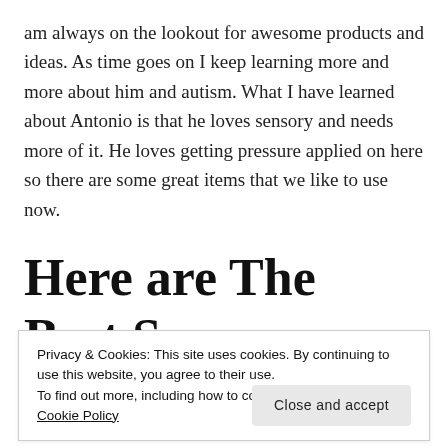am always on the lookout for awesome products and ideas. As time goes on I keep learning more and more about him and autism. What I have learned about Antonio is that he loves sensory and needs more of it. He loves getting pressure applied on here so there are some great items that we like to use now.
Here are The Best Sensory Autism Items:
Privacy & Cookies: This site uses cookies. By continuing to use this website, you agree to their use.
To find out more, including how to control cookies, see here: Cookie Policy
neoprene similar to the fabric used for wet